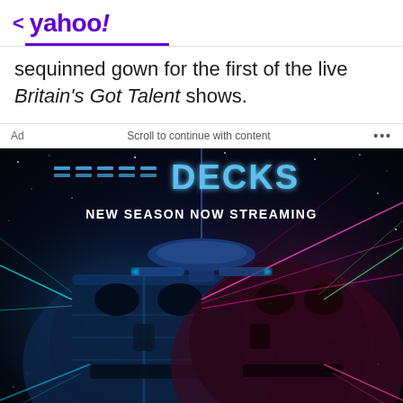< yahoo!
sequinned gown for the first of the live Britain's Got Talent shows.
[Figure (screenshot): Advertisement for a streaming show called Lower Decks - NEW SEASON NOW STREAMING. Dark sci-fi space imagery with a robotic/android face, colorful laser beams, and a starship in the background. Ad bar shows 'Ad', 'Scroll to continue with content', and '...' controls.]